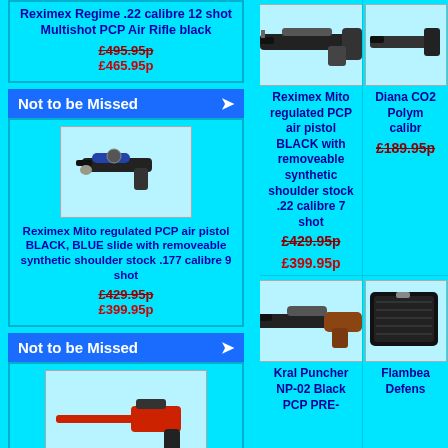Reximex Regime .22 calibre 12 shot Multishot PCP Air Rifle black
£495.95p  £465.95p
Not to be Missed
[Figure (photo): Reximex Mito regulated PCP air pistol BLACK BLUE slide with removeable synthetic shoulder stock]
Reximex Mito regulated PCP air pistol BLACK, BLUE slide with removeable synthetic shoulder stock .177 calibre 9 shot
£429.95p  £399.95p
Not to be Missed
[Figure (photo): Red air pistol product image]
[Figure (photo): Reximex Mito regulated PCP air pistol BLACK with removeable synthetic shoulder stock .22 calibre 7 shot]
Reximex Mito regulated PCP air pistol BLACK with removeable synthetic shoulder stock .22 calibre 7 shot
£429.95p  £399.95p
[Figure (photo): Kral Puncher NP-02 Black PCP PRE- product image]
Kral Puncher NP-02 Black PCP PRE-
[Figure (photo): Diana CO2 Polym calibr product image]
Diana CO2 Polym calibr
£189.95p
[Figure (photo): Flambea Defens product image]
Flambea Defens